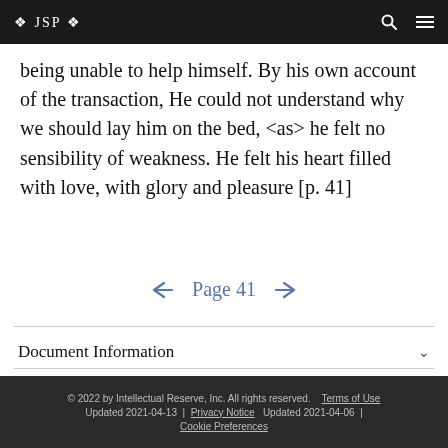❖ JSP ❖
being unable to help himself. By his own account of the transaction, He could not understand why we should lay him on the bed, <as> he felt no sensibility of weakness. He felt his heart filled with love, with glory and pleasure [p. 41]
← Page 41 →
Document Information
Footnotes
© 2022 by Intellectual Reserve, Inc. All rights reserved.   Terms of Use   Updated 2021-04-13 |   Privacy Notice   Updated 2021-04-06 |   Cookie Preferences